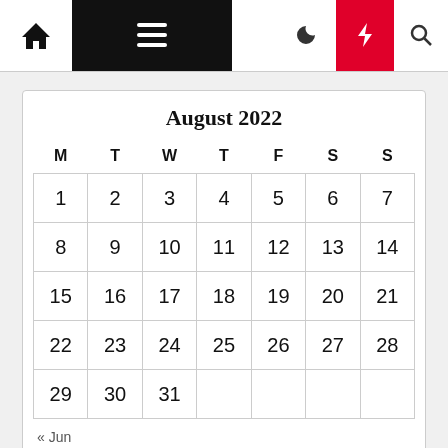Navigation bar with home, menu, dark mode, bolt/lightning, and search icons
August 2022
| M | T | W | T | F | S | S |
| --- | --- | --- | --- | --- | --- | --- |
| 1 | 2 | 3 | 4 | 5 | 6 | 7 |
| 8 | 9 | 10 | 11 | 12 | 13 | 14 |
| 15 | 16 | 17 | 18 | 19 | 20 | 21 |
| 22 | 23 | 24 | 25 | 26 | 27 | 28 |
| 29 | 30 | 31 |  |  |  |  |
« Jun